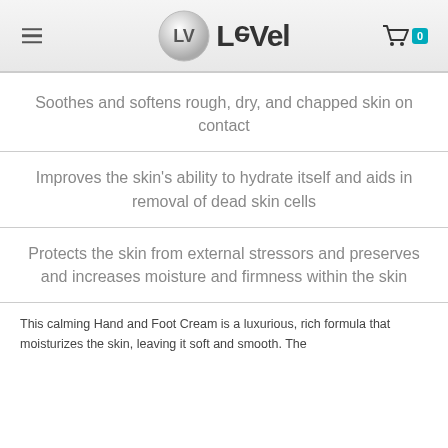Le-Vel logo and navigation header
Soothes and softens rough, dry, and chapped skin on contact
Improves the skin's ability to hydrate itself and aids in removal of dead skin cells
Protects the skin from external stressors and preserves and increases moisture and firmness within the skin
This calming Hand and Foot Cream is a luxurious, rich formula that...